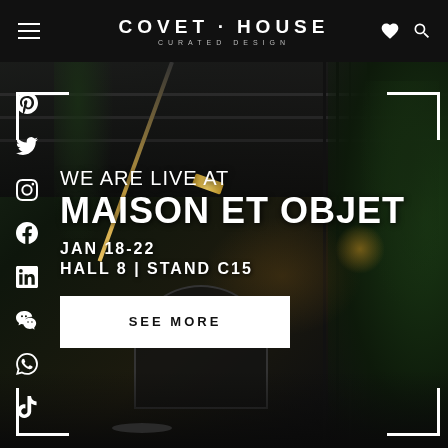COVET·HOUSE CURATED DESIGN
[Figure (photo): Dark interior of a luxury design showroom with hanging pendant lights, lush green plants, and elegant furniture on display. Gold and black tones with dramatic lighting.]
WE ARE LIVE AT MAISON ET OBJET
JAN 18-22
HALL 8 | STAND C15
SEE MORE